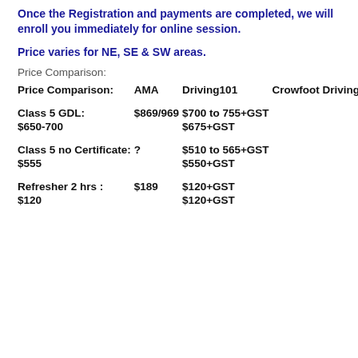Once the Registration and payments are completed, we will enroll you immediately for online session.
Price varies for NE, SE & SW areas.
Price Comparison:
| Price Comparison: | AMA | Driving101 | Crowfoot Driving | Our Price |
| --- | --- | --- | --- | --- |
| Class 5 GDL: | $869/969 | $700 to 755+GST | $650-700 | $675+GST |
| Class 5 no Certificate: | ? | $510 to 565+GST | $555 | $550+GST |
| Refresher 2 hrs : | $189 | $120+GST | $120 | $120+GST |